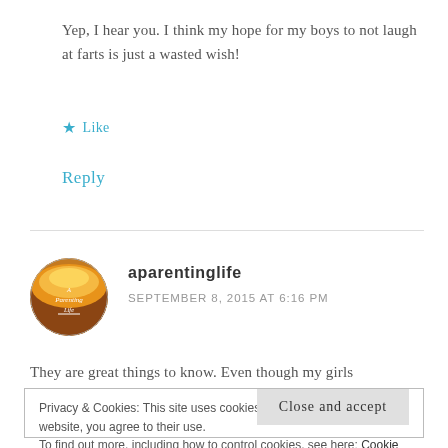Yep, I hear you. I think my hope for my boys to not laugh at farts is just a wasted wish!
★ Like
Reply
aparentinglife
SEPTEMBER 8, 2015 AT 6:16 PM
[Figure (photo): Circular avatar image for aparentinglife blog, showing a sunset/landscape scene with text 'A Parenting Life' overlaid]
They are great things to know. Even though my girls
Privacy & Cookies: This site uses cookies. By continuing to use this website, you agree to their use.
To find out more, including how to control cookies, see here: Cookie Policy
Close and accept